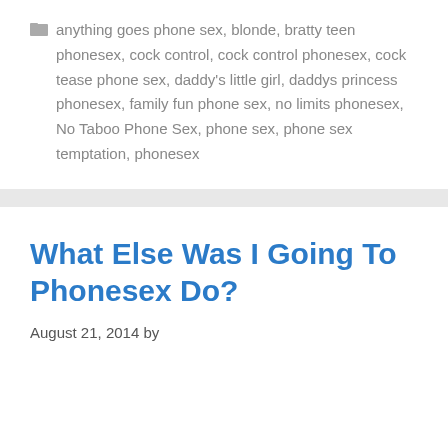anything goes phone sex, blonde, bratty teen phonesex, cock control, cock control phonesex, cock tease phone sex, daddy's little girl, daddys princess phonesex, family fun phone sex, no limits phonesex, No Taboo Phone Sex, phone sex, phone sex temptation, phonesex
What Else Was I Going To Phonesex Do?
August 21, 2014 by